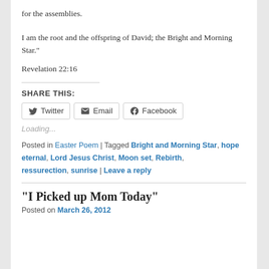for the assemblies.
I am the root and the offspring of David; the Bright and Morning Star."
Revelation 22:16
SHARE THIS:
Loading...
Posted in Easter Poem | Tagged Bright and Morning Star, hope eternal, Lord Jesus Christ, Moon set, Rebirth, ressurection, sunrise | Leave a reply
“I Picked up Mom Today”
Posted on March 26, 2012